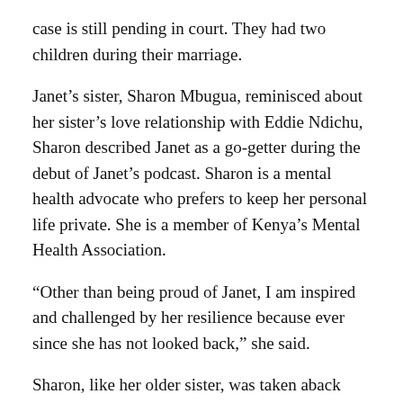case is still pending in court. They had two children during their marriage.
Janet’s sister, Sharon Mbugua, reminisced about her sister’s love relationship with Eddie Ndichu, Sharon described Janet as a go-getter during the debut of Janet’s podcast. Sharon is a mental health advocate who prefers to keep her personal life private. She is a member of Kenya’s Mental Health Association.
“Other than being proud of Janet, I am inspired and challenged by her resilience because ever since she has not looked back,” she said.
Sharon, like her older sister, was taken aback when she learned Eddie had proposed to Janet.
“Eddy had been in and out of her life. I remember the first time I saw him was during a farewell party at KTN,